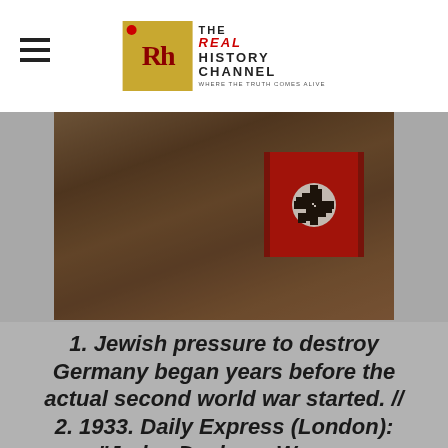THE REAL HISTORY CHANNEL — WHERE THE TRUTH COMES ALIVE
[Figure (photo): Historical photo showing figures, one wearing a Nazi armband with swastika]
1. Jewish pressure to destroy Germany began years before the actual second world war started. // 2. 1933. Daily Express (London): "Judea Declares War on Germany" // 3. 1933 (NY...